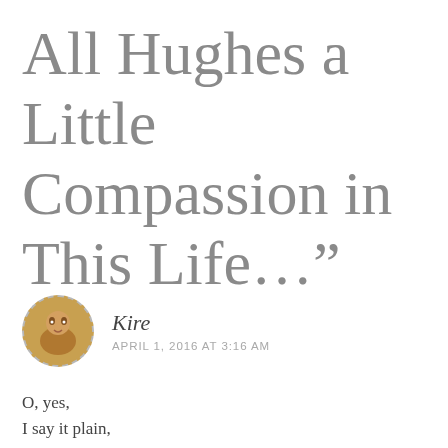All Hughes a Little Compassion in This Life…”
Kire
APRIL 1, 2016 AT 3:16 AM
O, yes,
I say it plain,